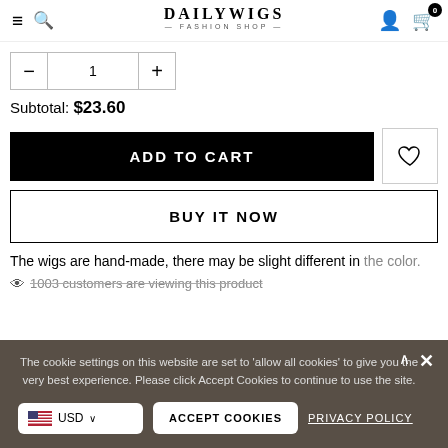DAILYWIGS — FASHION SHOP (nav bar with hamburger, search, logo, user, cart)
— 1 + (quantity selector)
Subtotal: $23.60
ADD TO CART
BUY IT NOW
The wigs are hand-made, there may be slight different in the color.
1003 customers are viewing this product
The cookie settings on this website are set to 'allow all cookies' to give you the very best experience. Please click Accept Cookies to continue to use the site.
USD
ACCEPT COOKIES
PRIVACY POLICY